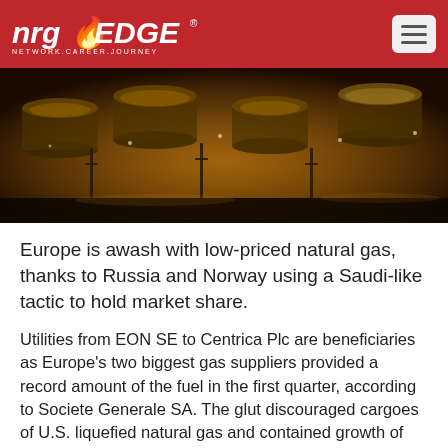nrgEDGE NETWORK.CAREER.JOURNEY
[Figure (photo): Aerial night view of a large industrial natural gas storage tank facility with multiple large dome-topped tanks illuminated by warm yellow lights, with pipe infrastructure visible between tanks.]
Europe is awash with low-priced natural gas, thanks to Russia and Norway using a Saudi-like tactic to hold market share.
Utilities from EON SE to Centrica Plc are beneficiaries as Europe's two biggest gas suppliers provided a record amount of the fuel in the first quarter, according to Societe Generale SA. The glut discouraged cargoes of U.S. liquefied natural gas and contained growth of